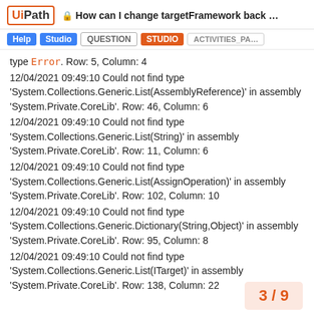UiPath | How can I change targetFramework back ...
Help | Studio | QUESTION | STUDIO | ACTIVITIES_PA...
type Error. Row: 5, Column: 4
12/04/2021 09:49:10 Could not find type 'System.Collections.Generic.List(AssemblyReference)' in assembly 'System.Private.CoreLib'. Row: 46, Column: 6
12/04/2021 09:49:10 Could not find type 'System.Collections.Generic.List(String)' in assembly 'System.Private.CoreLib'. Row: 11, Column: 6
12/04/2021 09:49:10 Could not find type 'System.Collections.Generic.List(AssignOperation)' in assembly 'System.Private.CoreLib'. Row: 102, Column: 10
12/04/2021 09:49:10 Could not find type 'System.Collections.Generic.Dictionary(String,Object)' in assembly 'System.Private.CoreLib'. Row: 95, Column: 8
12/04/2021 09:49:10 Could not find type 'System.Collections.Generic.List(ITarget)' in assembly 'System.Private.CoreLib'. Row: 138, Column: 22
3 / 9